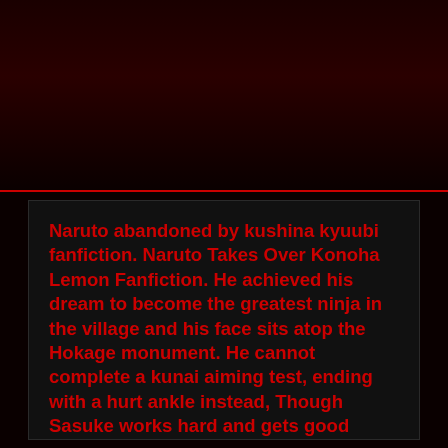Naruto abandoned by kushina kyuubi fanfiction. Naruto Takes Over Konoha Lemon Fanfiction. He achieved his dream to become the greatest ninja in the village and his face sits atop the Hokage monument. He cannot complete a kunai aiming test, ending with a hurt ankle instead, Though Sasuke works hard and gets good grades, he still cannot get. A/N: This is my version of Naruto. Naruto beaten as a child neglected, being called 'DEMON' just because of the kyuubi as he was only the Jailor for the kyuubi. One very horrible day Naruto lost somethi... This story is about Hatake twins,Minato Hatake and Zixuan Hatake born to Kakashi Hatake and Yuri